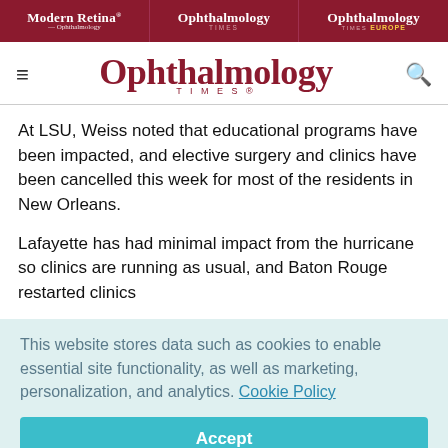Modern Retina — Ophthalmology | Ophthalmology Times | Ophthalmology Times Europe
[Figure (logo): Ophthalmology Times logo with hamburger menu and search icon]
At LSU, Weiss noted that educational programs have been impacted, and elective surgery and clinics have been cancelled this week for most of the residents in New Orleans.
Lafayette has had minimal impact from the hurricane so clinics are running as usual, and Baton Rouge restarted clinics
This website stores data such as cookies to enable essential site functionality, as well as marketing, personalization, and analytics. Cookie Policy
Accept
Deny